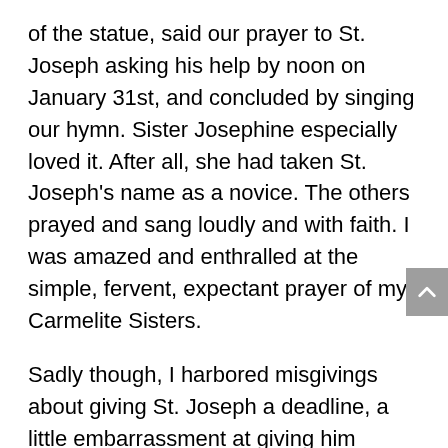of the statue, said our prayer to St. Joseph asking his help by noon on January 31st, and concluded by singing our hymn. Sister Josephine especially loved it. After all, she had taken St. Joseph's name as a novice. The others prayed and sang loudly and with faith. I was amazed and enthralled at the simple, fervent, expectant prayer of my Carmelite Sisters.
Sadly though, I harbored misgivings about giving St. Joseph a deadline, a little embarrassment at giving him flowers and singing, and a few doubts that he would come through for us. Like I mentioned, even though we Sisters look alike, inside we are our own personality, and our particular understanding of things, just like anyone else.